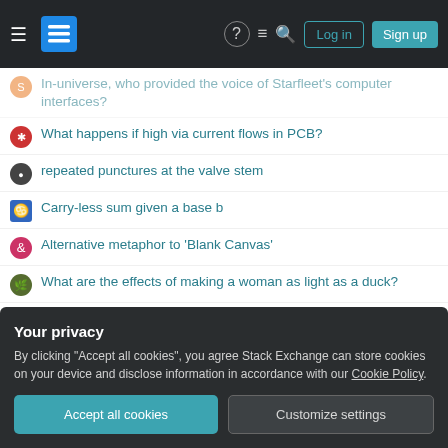Stack Exchange navigation header with Log in and Sign up buttons
In-universe, who provided the voice of Starfleet's computer interfaces?
What happens if high via current flows in PCB?
repeated punctures at the valve stem
Carry-less sum given a base b
Alternative metaphor to 'Blank Canvas'
What are the effects of making a woman as light as a duck?
Can I apply for tourist visa while living in a different country as an expat?
Is a kick vent required on resonant head?
Why can't Merry drink the Ent-draught?
Your privacy
By clicking "Accept all cookies", you agree Stack Exchange can store cookies on your device and disclose information in accordance with our Cookie Policy.
Accept all cookies | Customize settings